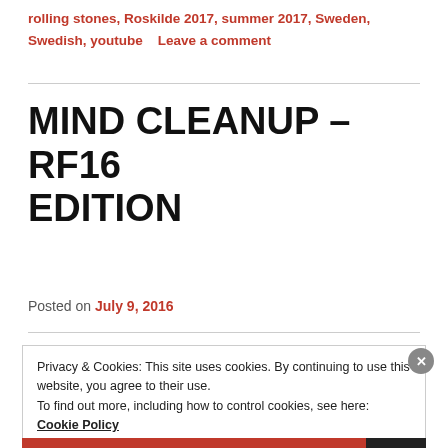rolling stones, Roskilde 2017, summer 2017, Sweden, Swedish, youtube   Leave a comment
MIND CLEANUP – RF16 EDITION
Posted on July 9, 2016
Privacy & Cookies: This site uses cookies. By continuing to use this website, you agree to their use.
To find out more, including how to control cookies, see here:
Cookie Policy